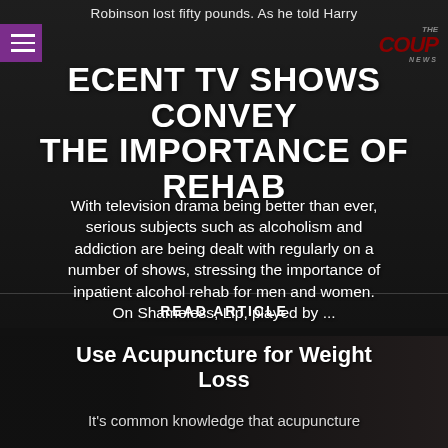Robinson lost fifty pounds. As he told Harry
RECENT TV SHOWS CONVEY THE IMPORTANCE OF REHAB
With television drama being better than ever, serious subjects such as alcoholism and addiction are being dealt with regularly on a number of shows, stressing the importance of inpatient alcohol rehab for men and women. On Shameless, Lip, played by ...
READ ARTICLE
Use Acupuncture for Weight Loss
It's common knowledge that acupuncture